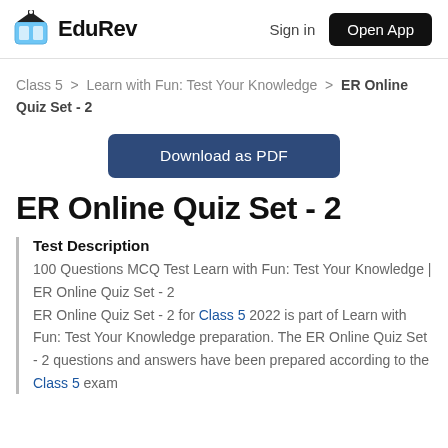EduRev | Sign in | Open App
Class 5 > Learn with Fun: Test Your Knowledge > ER Online Quiz Set - 2
[Figure (other): Download as PDF button]
ER Online Quiz Set - 2
Test Description
100 Questions MCQ Test Learn with Fun: Test Your Knowledge | ER Online Quiz Set - 2
ER Online Quiz Set - 2 for Class 5 2022 is part of Learn with Fun: Test Your Knowledge preparation. The ER Online Quiz Set - 2 questions and answers have been prepared according to the Class 5 exam